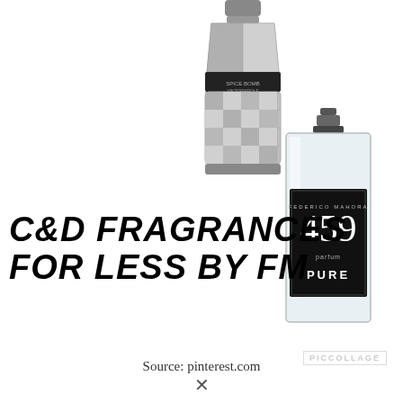[Figure (photo): Spice Bomb by Viktor&Rolf fragrance bottle, angular grenade-shaped glass bottle with silver metallic accents, shown at top center]
[Figure (photo): Federico Mahora FM 459 Pure parfum bottle, rectangular clear glass bottle with black label showing '459' and 'PURE', shown at right side]
C&D FRAGRANCES FOR LESS BY FM
PICCOLLAGE
Source: pinterest.com